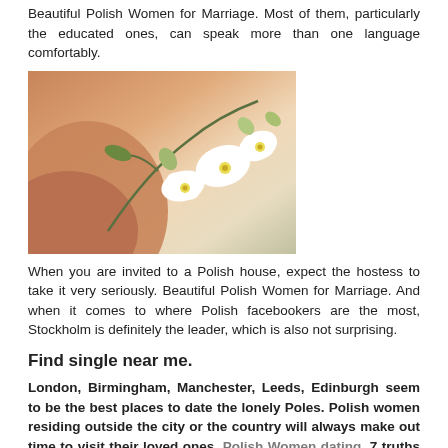Beautiful Polish Women for Marriage. Most of them, particularly the educated ones, can speak more than one language comfortably.
[Figure (photo): Photo of white orchid flowers with green buds on a warm peach/tan background, resembling a shoulder or vase shape.]
When you are invited to a Polish house, expect the hostess to take it very seriously. Beautiful Polish Women for Marriage. And when it comes to where Polish facebookers are the most, Stockholm is definitely the leader, which is also not surprising.
Find single near me.
London, Birmingham, Manchester, Leeds, Edinburgh seem to be the best places to date the lonely Poles. Polish women residing outside the city or the country will always make out time to visit their loved ones. Polish Women dating. 7 truths about Polish women. However, with Polish women, the reverse is the case. If this image triggers warm, fuzzy feelings in your stomach, a Polish bride is just what